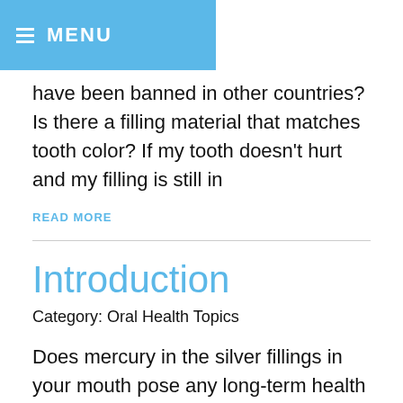MENU
have been banned in other countries? Is there a filling material that matches tooth color? If my tooth doesn't hurt and my filling is still in
READ MORE
Introduction
Category: Oral Health Topics
Does mercury in the silver fillings in your mouth pose any long-term health risks? Does fluoride, in spite of everything we've been told since childhood, actually cause more harm than good? What does the latest